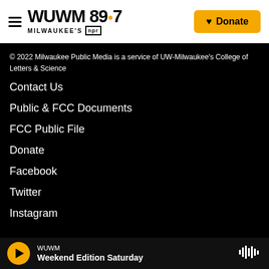[Figure (logo): WUWM 89.7 Milwaukee's NPR logo with hamburger menu icon]
[Figure (other): Yellow Donate button with heart icon]
© 2022 Milwaukee Public Media is a service of UW-Milwaukee's College of Letters & Science
Contact Us
Public & FCC Documents
FCC Public File
Donate
Facebook
Twitter
Instagram
WUWM Weekend Edition Saturday